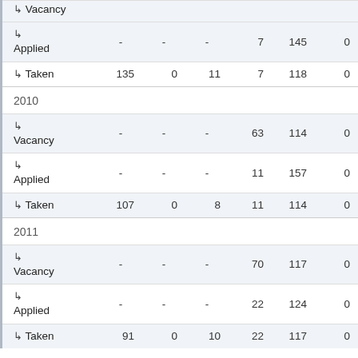| Type | Col1 | Col2 | Col3 | Col4 | Col5 | Col6 |
| --- | --- | --- | --- | --- | --- | --- |
| ↳ Vacancy (partial) | - | - | - | 7 | 145 | 0 |
| ↳ Applied | - | - | - | 7 | 145 | 0 |
| ↳ Taken | 135 | 0 | 11 | 7 | 118 | 0 |
| 2010 |  |  |  |  |  |  |
| ↳ Vacancy | - | - | - | 63 | 114 | 0 |
| ↳ Applied | - | - | - | 11 | 157 | 0 |
| ↳ Taken | 107 | 0 | 8 | 11 | 114 | 0 |
| 2011 |  |  |  |  |  |  |
| ↳ Vacancy | - | - | - | 70 | 117 | 0 |
| ↳ Applied | - | - | - | 22 | 124 | 0 |
| ↳ Taken | 91 | 0 | 10 | 22 | 117 | 0 |